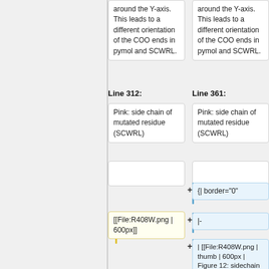around the Y-axis. This leads to a different orientation of the COO ends in pymol and SCWRL.
around the Y-axis. This leads to a different orientation of the COO ends in pymol and SCWRL.
Line 312:
Line 361:
Pink: side chain of mutated residue (SCWRL)
Pink: side chain of mutated residue (SCWRL)
{| border="0"
[[File:R408W.png | 600px]]
|-
| [[File:R408W.png | thumb | 600px | Figure 12: sidechain of R408W]]
|}